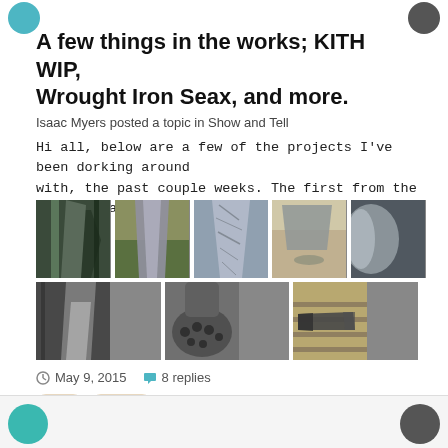A few things in the works; KITH WIP, Wrought Iron Seax, and more.
Isaac Myers posted a topic in Show and Tell
Hi all, below are a few of the projects I've been dorking around with, the past couple weeks. The first from the left, is a
[Figure (photo): Grid of 8 photos showing knife/blade crafting work including blades, metalwork, and a knife on a wooden surface.]
May 9, 2015   8 replies
seax   puukko   (and 1 more)